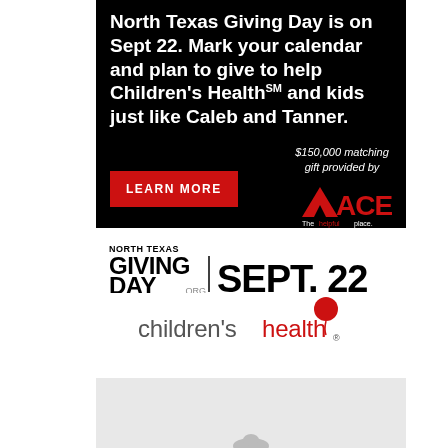North Texas Giving Day is on Sept 22. Mark your calendar and plan to give to help Children's Health℠ and kids just like Caleb and Tanner.
$150,000 matching gift provided by
[Figure (logo): ACE Hardware logo — red triangle with ACE text, tagline: The helpful place.]
[Figure (logo): North Texas Giving Day .org | SEPT. 22 logo in black bold text]
[Figure (logo): children's health logo with red balloon, text in gray and red]
[Figure (photo): Partial photo at bottom, light gray/white background with partial figure visible]